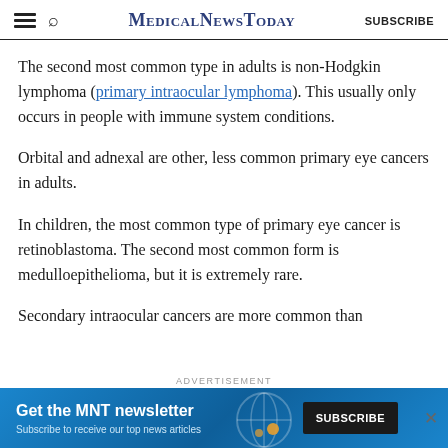MedicalNewsToday | SUBSCRIBE
The second most common type in adults is non-Hodgkin lymphoma (primary intraocular lymphoma). This usually only occurs in people with immune system conditions.
Orbital and adnexal are other, less common primary eye cancers in adults.
In children, the most common type of primary eye cancer is retinoblastoma. The second most common form is medulloepithelioma, but it is extremely rare.
Secondary intraocular cancers are more common than
[Figure (infographic): Advertisement banner for MNT newsletter subscription with blue gradient background, 'Get the MNT newsletter' headline, 'Subscribe to receive our top news articles' subtext, and a black SUBSCRIBE button.]